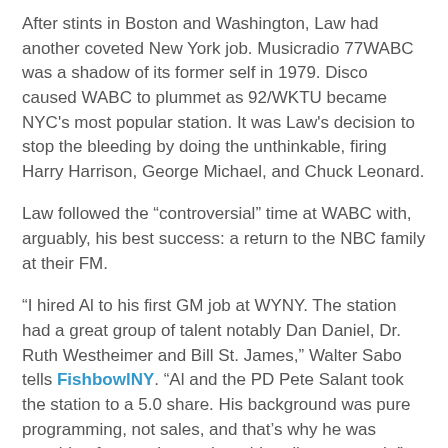After stints in Boston and Washington, Law had another coveted New York job. Musicradio 77WABC was a shadow of its former self in 1979. Disco caused WABC to plummet as 92/WKTU became NYC's most popular station. It was Law's decision to stop the bleeding by doing the unthinkable, firing Harry Harrison, George Michael, and Chuck Leonard.
Law followed the “controversial” time at WABC with, arguably, his best success: a return to the NBC family at their FM.
“I hired Al to his first GM job at WYNY. The station had a great group of talent notably Dan Daniel, Dr. Ruth Westheimer and Bill St. James,” Walter Sabo tells FishbowlNY. “Al and the PD Pete Salant took the station to a 5.0 share. His background was pure programming, not sales, and that’s why he was capable of managing such rapid audience growth.”
Eventually, he was promoted to VP of programming at NBC Radio.